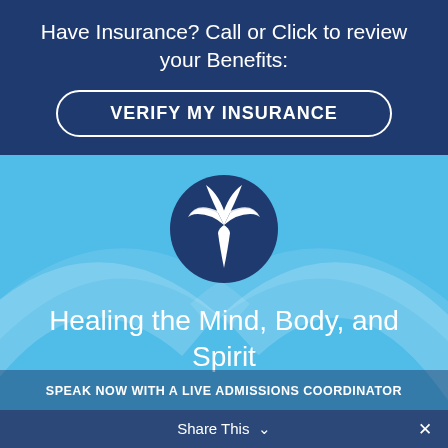Have Insurance? Call or Click to review your Benefits:
VERIFY MY INSURANCE
[Figure (logo): Dark navy circular logo with white palm tree icon]
Healing the Mind, Body, and Spirit
SPEAK NOW WITH A LIVE ADMISSIONS COORDINATOR
Share This  ∨   ✕